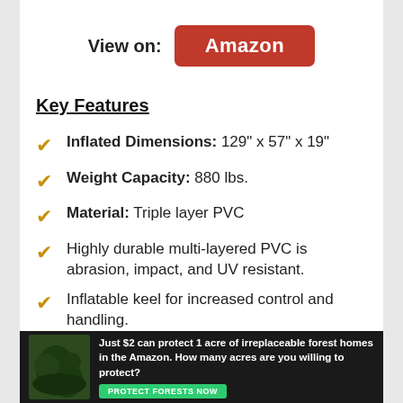View on: Amazon
Key Features
Inflated Dimensions: 129" x 57" x 19"
Weight Capacity: 880 lbs.
Material: Triple layer PVC
Highly durable multi-layered PVC is abrasion, impact, and UV resistant.
Inflatable keel for increased control and handling.
Four Boston valves for fast
[Figure (infographic): Advertisement banner: forest conservation ad with green button 'PROTECT FORESTS NOW']